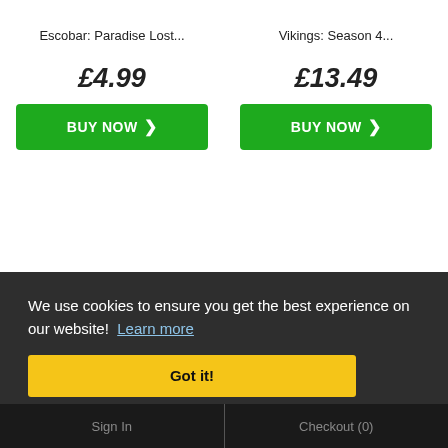Escobar: Paradise Lost...
£4.99
BUY NOW ❯
Vikings: Season 4...
£13.49
BUY NOW ❯
We use cookies to ensure you get the best experience on our website!  Learn more
Got it!
Sign In    Checkout (0)